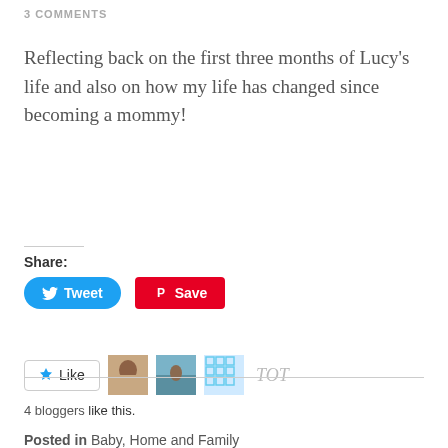3 COMMENTS
Reflecting back on the first three months of Lucy's life and also on how my life has changed since becoming a mommy!
Share:
[Figure (screenshot): Tweet and Save (Pinterest) social sharing buttons]
[Figure (screenshot): Like button with blogger avatars showing 4 bloggers like this]
4 bloggers like this.
Posted in Baby, Home and Family